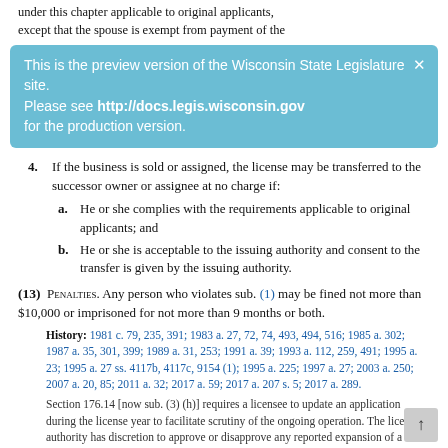under this chapter applicable to original applicants, except that the spouse is exempt from payment of the
This is the preview version of the Wisconsin State Legislature site. Please see http://docs.legis.wisconsin.gov for the production version.
4. If the business is sold or assigned, the license may be transferred to the successor owner or assignee at no charge if:
a. He or she complies with the requirements applicable to original applicants; and
b. He or she is acceptable to the issuing authority and consent to the transfer is given by the issuing authority.
(13) PENALTIES. Any person who violates sub. (1) may be fined not more than $10,000 or imprisoned for not more than 9 months or both.
History: 1981 c. 79, 235, 391; 1983 a. 27, 72, 74, 493, 494, 516; 1985 a. 302; 1987 a. 35, 301, 399; 1989 a. 31, 253; 1991 a. 39; 1993 a. 112, 259, 491; 1995 a. 23; 1995 a. 27 ss. 4117b, 4117c, 9154 (1); 1995 a. 225; 1997 a. 27; 2003 a. 250; 2007 a. 20, 85; 2011 a. 32; 2017 a. 59; 2017 a. 207 s. 5; 2017 a. 289.
Section 176.14 [now sub. (3) (h)] requires a licensee to update an application during the license year to facilitate scrutiny of the ongoing operation. The licensing authority has discretion to approve or disapprove any reported expansion of a licensed